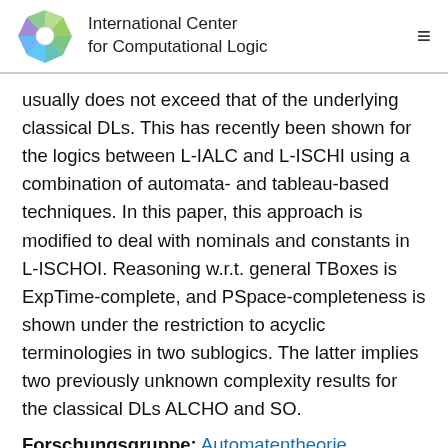International Center for Computational Logic
usually does not exceed that of the underlying classical DLs. This has recently been shown for the logics between L-IALC and L-ISCHI using a combination of automata- and tableau-based techniques. In this paper, this approach is modified to deal with nominals and constants in L-ISCHOI. Reasoning w.r.t. general TBoxes is ExpTime-complete, and PSpace-completeness is shown under the restriction to acyclic terminologies in two sublogics. The latter implies two previously unknown complexity results for the classical DLs ALCHO and SO.
Forschungsgruppe: Automatentheorie